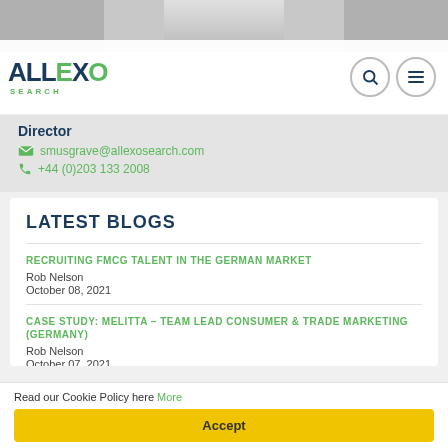[Figure (photo): Partial photo of a person at the top of the page, dark background]
ALLEXO SEARCH
Director
smusgrave@allexosearch.com
+44 (0)203 133 2008
LATEST BLOGS
RECRUITING FMCG TALENT IN THE GERMAN MARKET
Rob Nelson
October 08, 2021
CASE STUDY: MELITTA – TEAM LEAD CONSUMER & TRADE MARKETING (GERMANY)
Rob Nelson
October 07, 2021
CASE STUDY: NPD GROUP - SENIOR CONSULTANT, BEAUTY (FRANCE)
Read our Cookie Policy here More
Accept